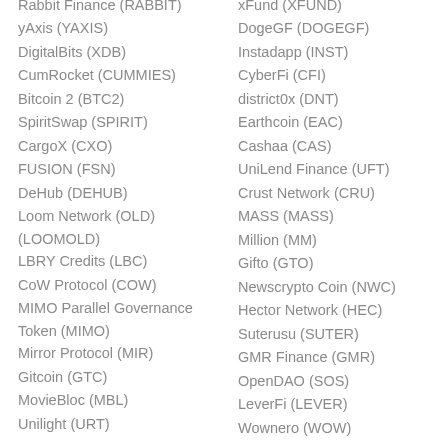Rabbit Finance (RABBIT)
yAxis (YAXIS)
DigitalBits (XDB)
CumRocket (CUMMIES)
Bitcoin 2 (BTC2)
SpiritSwap (SPIRIT)
CargoX (CXO)
FUSION (FSN)
DeHub (DEHUB)
Loom Network (OLD) (LOOMOLD)
LBRY Credits (LBC)
CoW Protocol (COW)
MIMO Parallel Governance Token (MIMO)
Mirror Protocol (MIR)
Gitcoin (GTC)
MovieBloc (MBL)
Unilight (URT)
xFund (XFUND)
DogeGF (DOGEGF)
Instadapp (INST)
CyberFi (CFI)
district0x (DNT)
Earthcoin (EAC)
Cashaa (CAS)
UniLend Finance (UFT)
Crust Network (CRU)
MASS (MASS)
Million (MM)
Gifto (GTO)
Newscrypto Coin (NWC)
Hector Network (HEC)
Suterusu (SUTER)
GMR Finance (GMR)
OpenDAO (SOS)
LeverFi (LEVER)
Wownero (WOW)